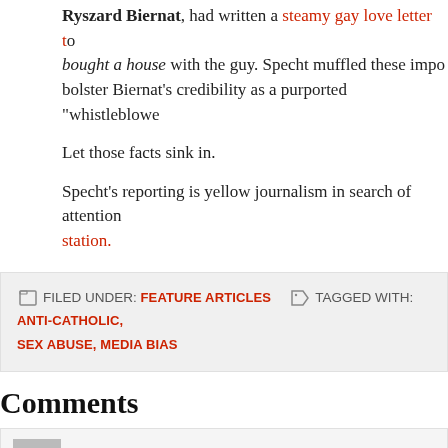Ryszard Biernat, had written a steamy gay love letter to [truncated] bought a house with the guy. Specht muffled these impo[rtant facts to] bolster Biernat's credibility as a purported "whistleblowe[r"]
Let those facts sink in.
Specht's reporting is yellow journalism in search of attention [and] station.
FILED UNDER: FEATURE ARTICLES  TAGGED WITH: ANTI-CATHOLIC, SEX ABUSE, MEDIA BIAS
Comments
peoples clown says: November 19, 2019 at 8:37 am
This satanic Bolshevik is definitely doing the work of his father the devil [from the] beginning. He should have informed the bishop that the call would have [been for training] purposes. Training how to lie, that is! As he tries to bring his station out of [trouble] by trying to destroy the bishop, they are the ones with "egg on their face["...]